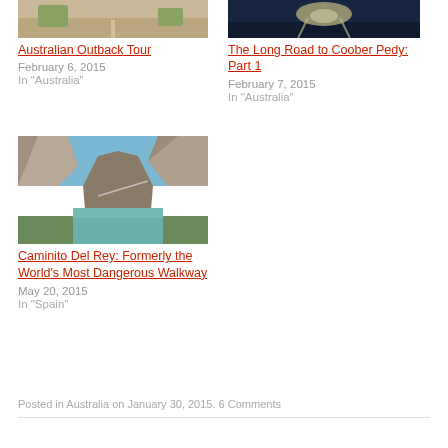[Figure (photo): Dirt road through Australian outback with dry trees on either side]
Australian Outback Tour
February 6, 2015
In "Australia"
[Figure (photo): Dark road lit by headlights at night]
The Long Road to Coober Pedy: Part 1
February 7, 2015
In "Australia"
[Figure (photo): Rocky canyon with turquoise river and mountain cliffs — Caminito Del Rey, Spain]
Caminito Del Rey: Formerly the World's Most Dangerous Walkway
May 20, 2015
In "Spain"
Posted in Australia on January 30, 2015. 6 Comments